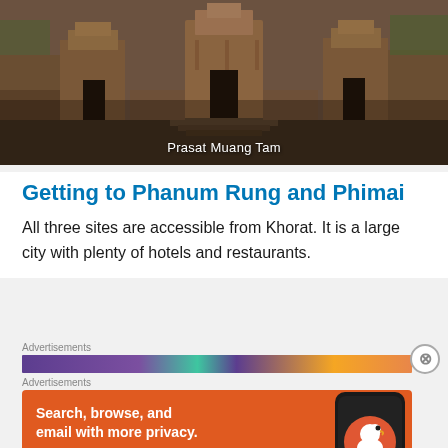[Figure (photo): Photograph of Prasat Muang Tam ancient Khmer temple ruins with stone towers and courtyard]
Prasat Muang Tam
Getting to Phanum Rung and Phimai
All three sites are accessible from Khorat. It is a large city with plenty of hotels and restaurants.
Advertisements
[Figure (other): Colorful advertisement banner strip with purple, teal, orange colors]
Advertisements
[Figure (other): DuckDuckGo advertisement: Search, browse, and email with more privacy. All in One Free App. Shows phone with DuckDuckGo logo on orange background.]